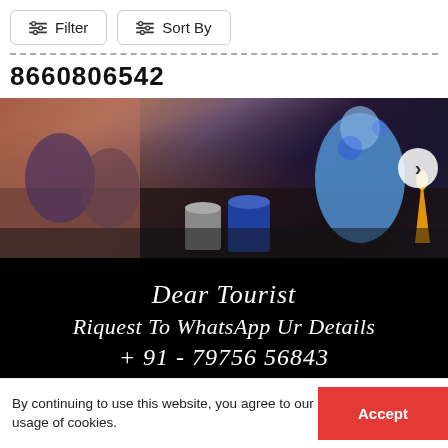Filter   Sort By
8660806542
[Figure (photo): People sitting in a dimly lit room with drums/djembes on the floor; a person in a light blue outfit on the right; an orange cone/candle on the far right. A black banner overlay reads: Dear Tourist / Riquest To WhatsApp Ur Details / +91 - 79756 56843]
0.1 km from city centre
By continuing to use this website, you agree to our usage of cookies.